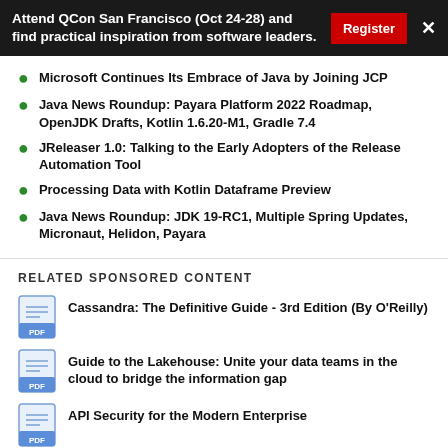Attend QCon San Francisco (Oct 24-28) and find practical inspiration from software leaders.
Microsoft Continues Its Embrace of Java by Joining JCP
Java News Roundup: Payara Platform 2022 Roadmap, OpenJDK Drafts, Kotlin 1.6.20-M1, Gradle 7.4
JReleaser 1.0: Talking to the Early Adopters of the Release Automation Tool
Processing Data with Kotlin Dataframe Preview
Java News Roundup: JDK 19-RC1, Multiple Spring Updates, Micronaut, Helidon, Payara
RELATED SPONSORED CONTENT
Cassandra: The Definitive Guide - 3rd Edition (By O'Reilly)
Guide to the Lakehouse: Unite your data teams in the cloud to bridge the information gap
API Security for the Modern Enterprise
[eBook] Application Modernization Patterns & Anti-Patterns